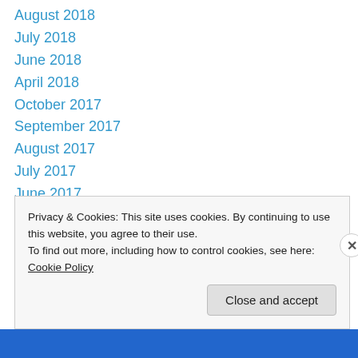August 2018
July 2018
June 2018
April 2018
October 2017
September 2017
August 2017
July 2017
June 2017
May 2017
April 2017
March 2017
February 2017
Privacy & Cookies: This site uses cookies. By continuing to use this website, you agree to their use.
To find out more, including how to control cookies, see here: Cookie Policy
Close and accept